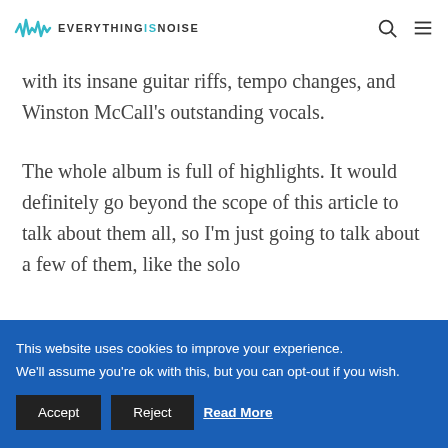EVERYTHINGSNOISE
with its insane guitar riffs, tempo changes, and Winston McCall's outstanding vocals.
The whole album is full of highlights. It would definitely go beyond the scope of this article to talk about them all, so I'm just going to talk about a few of them, like the solo
This website uses cookies to improve your experience. We'll assume you're ok with this, but you can opt-out if you wish. Accept Reject Read More